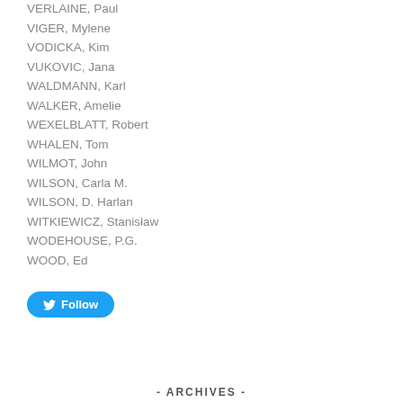VERLAINE, Paul
VIGER, Mylene
VODICKA, Kim
VUKOVIC, Jana
WALDMANN, Karl
WALKER, Amelie
WEXELBLATT, Robert
WHALEN, Tom
WILMOT, John
WILSON, Carla M.
WILSON, D. Harlan
WITKIEWICZ, Stanisław
WODEHOUSE, P.G.
WOOD, Ed
[Figure (other): Twitter Follow button]
- ARCHIVES -